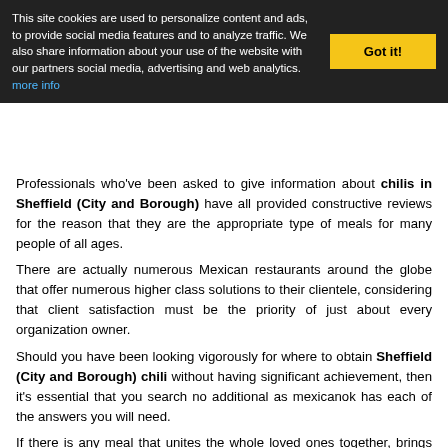This site cookies are used to personalize content and ads, to provide social media features and to analyze traffic. We also share information about your use of the website with our partners social media, advertising and web analytics. more info | Got it!
Professionals who've been asked to give information about chilis in Sheffield (City and Borough) have all provided constructive reviews for the reason that they are the appropriate type of meals for many people of all ages.
There are actually numerous Mexican restaurants around the globe that offer numerous higher class solutions to their clientele, considering that client satisfaction must be the priority of just about every organization owner.
Should you have been looking vigorously for where to obtain Sheffield (City and Borough) chili without having significant achievement, then it's essential that you search no additional as mexicanok has each of the answers you will need.
If there is any meal that unites the whole loved ones together, brings good friends closer, tends to make relationship stronger and refreshes both the thoughts and physique, then it must be Sheffield (City and Borough) chili.
The type of protection that an excellent meal delivers the body will be when compared with the type of protection the skull considers the brain, it can be sure that your protection is...